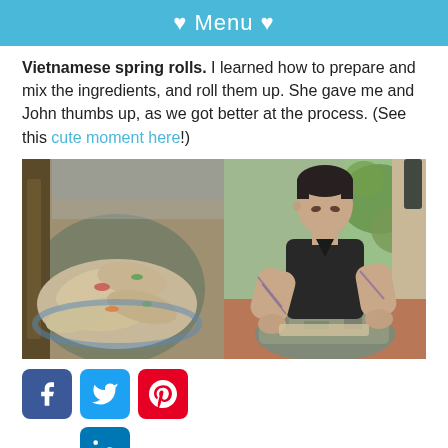♥ Menu ♥
Vietnamese spring rolls. I learned how to prepare and mix the ingredients, and roll them up. She gave me and John thumbs up, as we got better at the process. (See this cute moment here!)
[Figure (photo): Two photos side by side: left shows a bowl of Vietnamese spring rolls wrapped in rice paper; right shows a tattooed man in black t-shirt sitting cross-legged rolling spring rolls.]
[Figure (infographic): Social media sharing icons: Facebook (blue), Twitter (blue), Pinterest (red), LinkedIn (blue)]